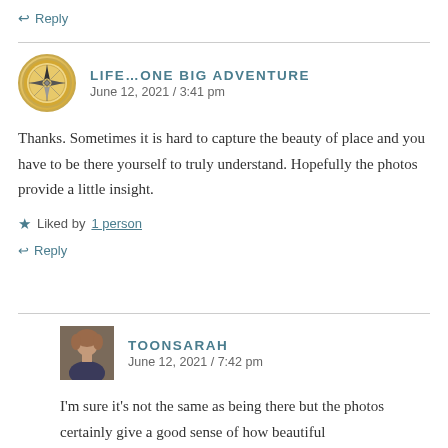↩ Reply
[Figure (illustration): Compass rose avatar icon with golden border for LIFE...ONE BIG ADVENTURE commenter]
LIFE...ONE BIG ADVENTURE
June 12, 2021 / 3:41 pm
Thanks. Sometimes it is hard to capture the beauty of place and you have to be there yourself to truly understand. Hopefully the photos provide a little insight.
★ Liked by 1 person
↩ Reply
[Figure (photo): Profile photo of TOONSARAH - woman with short brown hair]
TOONSARAH
June 12, 2021 / 7:42 pm
I'm sure it's not the same as being there but the photos certainly give a good sense of how beautiful